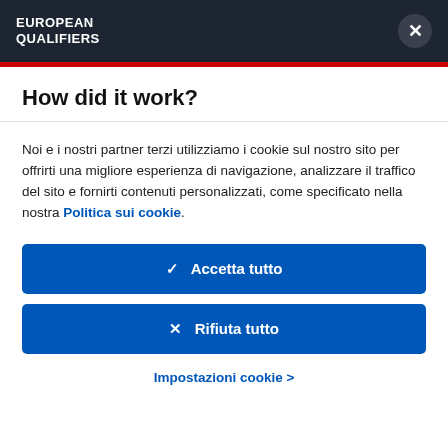EUROPEAN QUALIFIERS
How did it work?
Noi e i nostri partner terzi utilizziamo i cookie sul nostro sito per offrirti una migliore esperienza di navigazione, analizzare il traffico del sito e fornirti contenuti personalizzati, come specificato nella nostra Politica sui cookie.
✓  Accetta tutto
✕  Rifiuta tutto
Impostazioni cookie  >